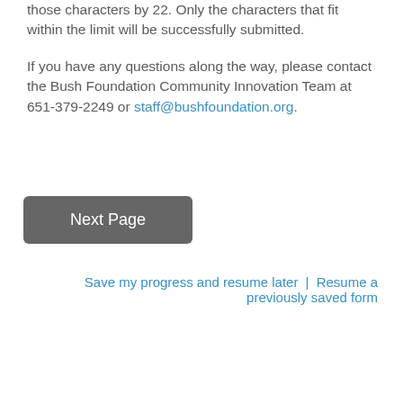those characters by 22. Only the characters that fit within the limit will be successfully submitted.
If you have any questions along the way, please contact the Bush Foundation Community Innovation Team at 651-379-2249 or staff@bushfoundation.org.
Next Page
Save my progress and resume later | Resume a previously saved form